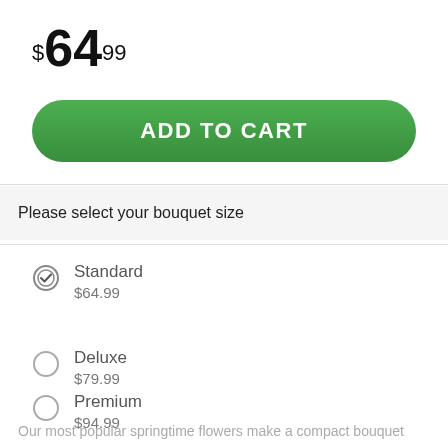$64.99
ADD TO CART
Please select your bouquet size
Standard
$64.99
Deluxe
$79.99
Premium
$94.99
Our most popular springtime flowers make a compact bouquet